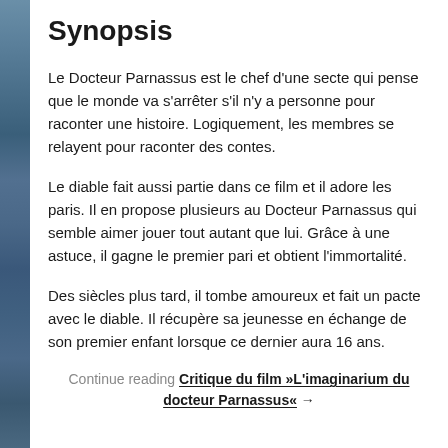Synopsis
Le Docteur Parnassus est le chef d'une secte qui pense que le monde va s'arrêter s'il n'y a personne pour raconter une histoire. Logiquement, les membres se relayent pour raconter des contes.
Le diable fait aussi partie dans ce film et il adore les paris. Il en propose plusieurs au Docteur Parnassus qui semble aimer jouer tout autant que lui. Grâce à une astuce, il gagne le premier pari et obtient l'immortalité.
Des siècles plus tard, il tombe amoureux et fait un pacte avec le diable. Il récupère sa jeunesse en échange de son premier enfant lorsque ce dernier aura 16 ans.
Continue reading Critique du film »L'imaginarium du docteur Parnassus« →